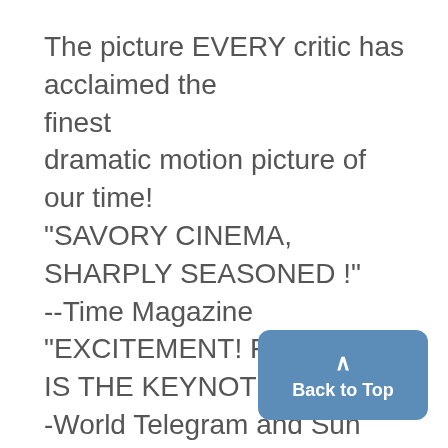The picture EVERY critic has acclaimed the finest dramatic motion picture of our time! "SAVORY CINEMA, SHARPLY SEASONED !" --Time Magazine "EXCITEMENT! FEROCITY IS THE KEYNOTE !" -World Telegram and Sun
University of Michigan PLATFORM
LIFE
N.Y. Times